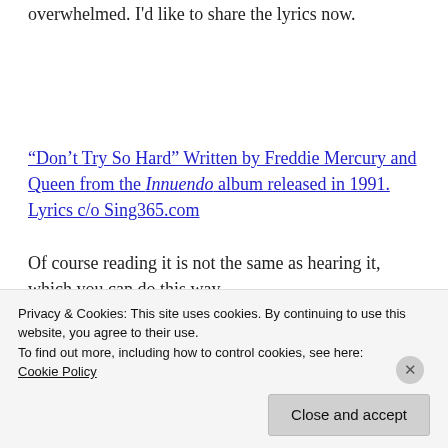overwhelmed. I'd like to share the lyrics now.
“Don’t Try So Hard” Written by Freddie Mercury and Queen from the Innuendo album released in 1991. Lyrics c/o Sing365.com
Of course reading it is not the same as hearing it, which you can do this way
Privacy & Cookies: This site uses cookies. By continuing to use this website, you agree to their use.
To find out more, including how to control cookies, see here: Cookie Policy
Close and accept